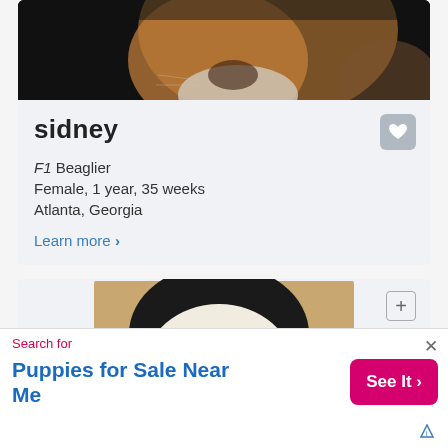[Figure (photo): Close-up photo of a dog (Beaglier) with tan and white fur against a dark background, partially cropped at top]
sidney
F1 Beaglier
Female, 1 year, 35 weeks
Atlanta, Georgia
Learn more >
[Figure (photo): Photo of a black and white puppy being held in a person's hands, centered in a card]
Search for
Puppies for Sale Near Me
See It >